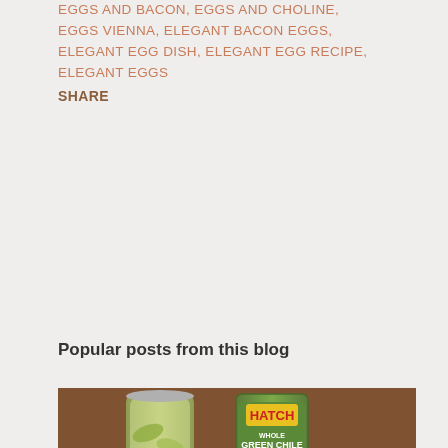EGGS AND BACON, EGGS AND CHOLINE, EGGS VIENNA, ELEGANT BACON EGGS, ELEGANT EGG DISH, ELEGANT EGG RECIPE, ELEGANT EGGS
SHARE
Popular posts from this blog
[Figure (photo): Photo of food items: a jar of pickled peppers, a can of Hatch Whole Green Chiles (Mild), and a plate with two open-faced items topped with cream cheese and green chiles, on a wooden table surface.]